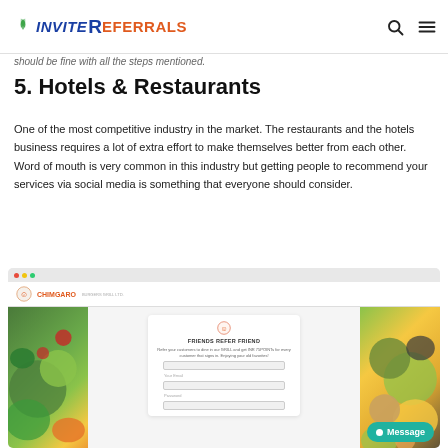INVITE REFERRALS
should be fine with all the steps mentioned.
5. Hotels & Restaurants
One of the most competitive industry in the market. The restaurants and the hotels business requires a lot of extra effort to make themselves better from each other. Word of mouth is very common in this industry but getting people to recommend your services via social media is something that everyone should consider.
[Figure (screenshot): Screenshot of a Chimgaro restaurant referral program page showing a food-themed website with a referral signup form in the center, food images on left and right, and a teal Message button in the bottom right.]